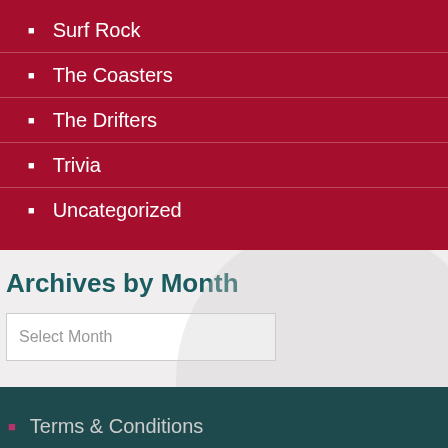Surf Rock
The Coasters
The Drifters
Trivia
Uncategorized
Archives by Month
Select Month
Terms & Conditions